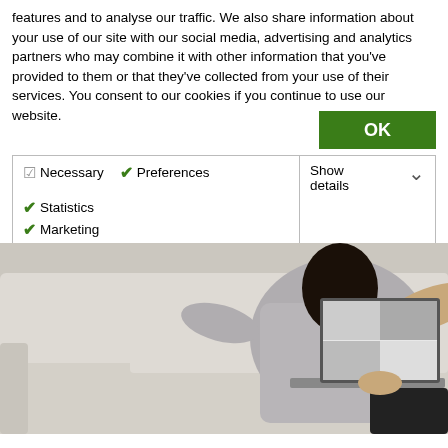features and to analyse our traffic. We also share information about your use of our site with our social media, advertising and analytics partners who may combine it with other information that you've provided to them or that they've collected from your use of their services. You consent to our cookies if you continue to use our website.
OK
| ✓ Necessary | ✓ Preferences | ✓ Statistics | Show details ∨ |
| ✓ Marketing |  |  |  |
[Figure (photo): A person in a grey blazer sitting on a light grey couch, working on a laptop computer, partially facing away from the camera.]